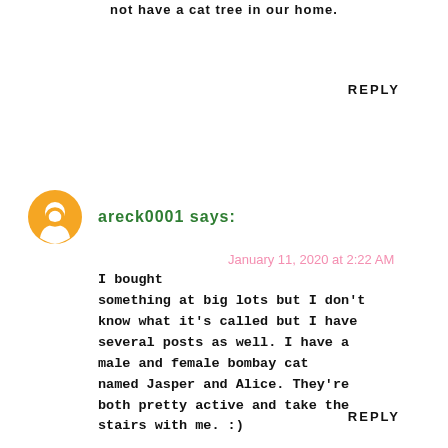… not have a cat tree in our home.
REPLY
areck0001 says:
January 11, 2020 at 2:22 AM
I bought something at big lots but I don't know what it's called but I have several posts as well. I have a male and female bombay cat named Jasper and Alice. They're both pretty active and take the stairs with me. :)
REPLY